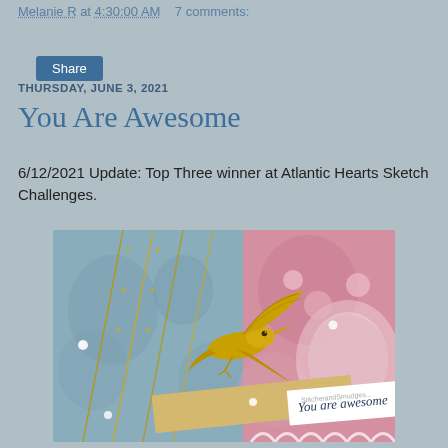Melanie R at 4:30:00 AM   7 comments:
Share
THURSDAY, JUNE 3, 2021
You Are Awesome
6/12/2021 Update: Top Three winner at Atlantic Hearts Sketch Challenges.
[Figure (photo): Close-up photo of a handmade greeting card featuring a gold metallic hummingbird die-cut, floral patterned paper in blue and pink, gold chain embellishments, pearl accents, and a banner reading 'You are awesome' with a watermark 'StitcherandSmudges'.]